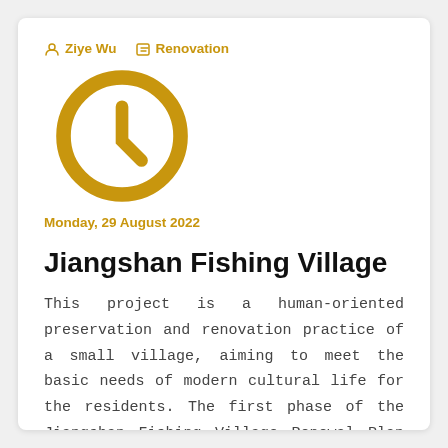Ziye Wu   Renovation   Monday, 29 August 2022
Jiangshan Fishing Village
This project is a human-oriented preservation and renovation practice of a small village, aiming to meet the basic needs of modern cultural life for the residents. The first phase of the Jiangshan Fishing Village Renewal Plan consists of two parts, namely the renovation of the vacant old homes and the construction of rural public facilities. The design retains the external appearance of the rare old houses with the maximum degree in this village, hoping to emphasize the importance of regional characteristics and cultural heritage.
Continue reading